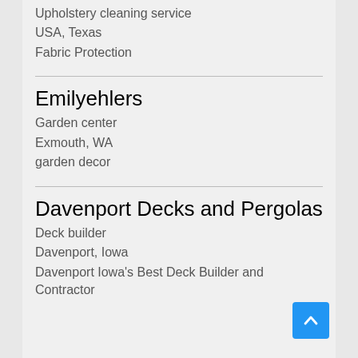Upholstery cleaning service
USA, Texas
Fabric Protection
Emilyehlers
Garden center
Exmouth, WA
garden decor
Davenport Decks and Pergolas
Deck builder
Davenport, Iowa
Davenport Iowa's Best Deck Builder and Contractor